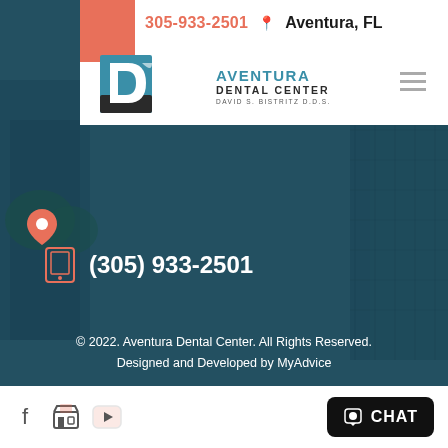305-933-2501  Aventura, FL
[Figure (logo): Aventura Dental Center logo with stylized tooth/letter D graphic, text reads AVENTURA DENTAL CENTER DAVID S. BISTRITZ D.D.S.]
(305) 933-2501
© 2022. Aventura Dental Center. All Rights Reserved. Designed and Developed by MyAdvice
Privacy Policy | Accessibility Statement | Terms of Use |  Sitemap
CHAT